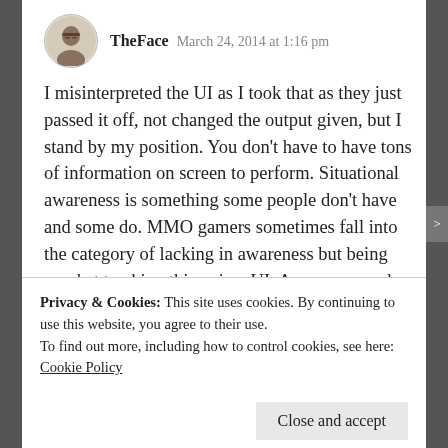TheFace  March 24, 2014 at 1:16 pm
I misinterpreted the UI as I took that as they just passed it off, not changed the output given, but I stand by my position. You don't have to have tons of information on screen to perform. Situational awareness is something some people don't have and some do. MMO gamers sometimes fall into the category of lacking in awareness but being good at tracking things in a UI. As someone who plays aircraft games, situational awareness is often the difference between winning and losing an engagement.
Privacy & Cookies: This site uses cookies. By continuing to use this website, you agree to their use.
To find out more, including how to control cookies, see here: Cookie Policy
Close and accept